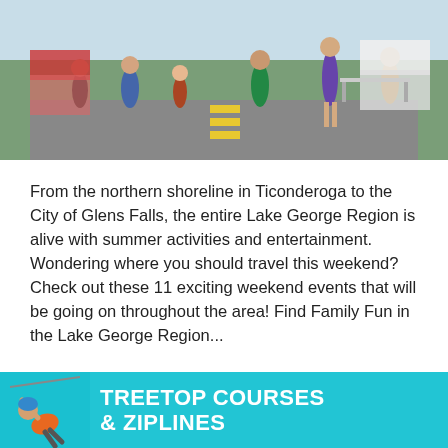[Figure (photo): Outdoor street fair or festival scene with a crowd of people walking on a road with yellow center line markings. Booths and tents visible in background. Summer setting.]
From the northern shoreline in Ticonderoga to the City of Glens Falls, the entire Lake George Region is alive with summer activities and entertainment. Wondering where you should travel this weekend? Check out these 11 exciting weekend events that will be going on throughout the area! Find Family Fun in the Lake George Region...
READ MORE »
[Figure (photo): Advertisement banner for Treetop Courses & Ziplines. Shows a person in an orange shirt on a zipline against a teal/cyan background. Text reads TREETOP COURSES & ZIPLINES in large white bold letters.]